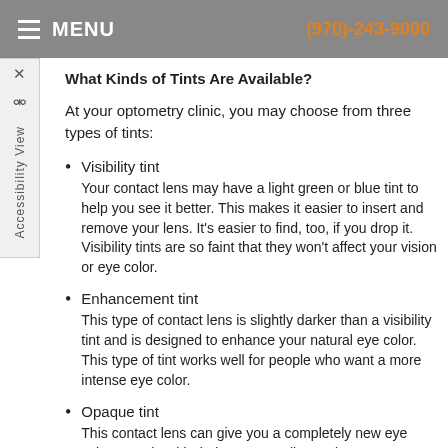MENU  (970)-243-9000
What Kinds of Tints Are Available?
At your optometry clinic, you may choose from three types of tints:
Visibility tint
Your contact lens may have a light green or blue tint to help you see it better. This makes it easier to insert and remove your lens. It's easier to find, too, if you drop it. Visibility tints are so faint that they won't affect your vision or eye color.
Enhancement tint
This type of contact lens is slightly darker than a visibility tint and is designed to enhance your natural eye color. This type of tint works well for people who want a more intense eye color.
Opaque tint
This contact lens can give you a completely new eye color. People with dark eyes usually need an opaque...